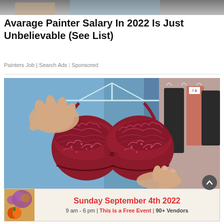[Figure (photo): Top cropped image strip, gray/dark toned]
Avarage Painter Salary In 2022 Is Just Unbelievable (See List)
Painters Job | Search Ads | Sponsored
[Figure (photo): A person holding up a dark red/burgundy lace bra on a clear plastic hanger in what appears to be a clothing store or market. Other garments visible in the background.]
[Figure (photo): Bottom banner advertisement: Sunday September 4th 2022, 9 am - 6 pm | This is a Free Event | 90+ Vendors. Left side has decorative image of pumpkins/produce.]